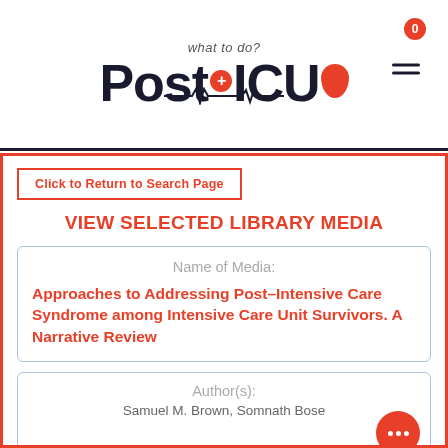[Figure (logo): PostICU app logo with tagline 'what to do?', red cross, blood drop icon, ECG line, notification badge showing 0, and hamburger menu]
Click to Return to Search Page
VIEW SELECTED LIBRARY MEDIA
Name of Media:
Approaches to Addressing Post-Intensive Care Syndrome among Intensive Care Unit Survivors. A Narrative Review
Author(s):
Samuel M. Brown, Somnath Bose